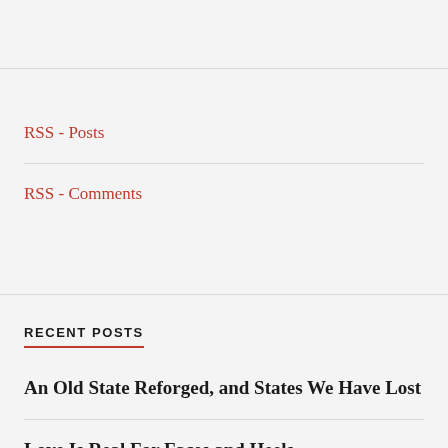RSS - Posts
RSS - Comments
RECENT POSTS
An Old State Reforged, and States We Have Lost
Love Is Real For Faces and Heels